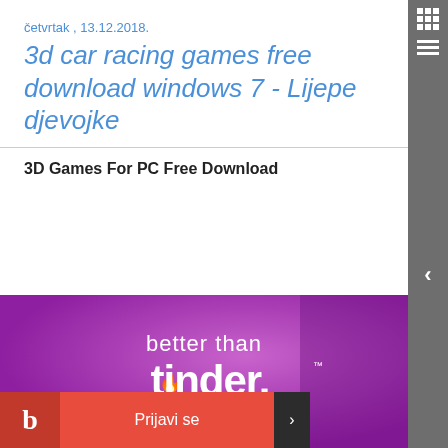četvrtak , 13.12.2018.
3d car racing games free download windows 7 - Lijepe djevojke
3D Games For PC Free Download
[Figure (photo): Purple/magenta advertisement banner with white text reading 'better than tinder.']
b  Prijavi se  ›